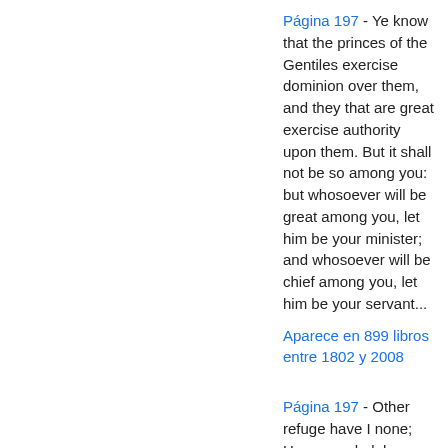Página 197 - Ye know that the princes of the Gentiles exercise dominion over them, and they that are great exercise authority upon them. But it shall not be so among you: but whosoever will be great among you, let him be your minister; and whosoever will be chief among you, let him be your servant...
Aparece en 899 libros entre 1802 y 2008
Página 197 - Other refuge have I none; Hangs my helpless soul on Thee; Leave, ah, leave me not alone, Still